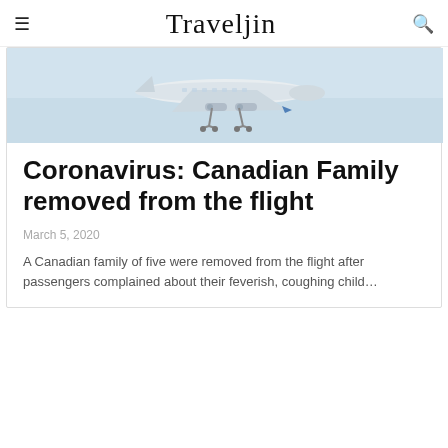Traveljin
[Figure (photo): Airplane with landing gear down photographed from below against a light blue sky, bottom portion cropped into article card]
Coronavirus: Canadian Family removed from the flight
March 5, 2020
A Canadian family of five were removed from the flight after passengers complained about their feverish, coughing child…